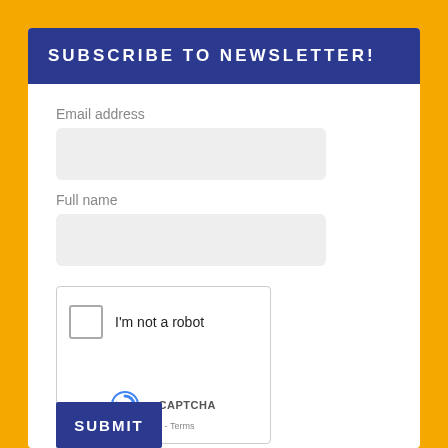SUBSCRIBE TO NEWSLETTER!
Email address
Full name
[Figure (other): reCAPTCHA widget with checkbox labeled 'I'm not a robot', reCAPTCHA logo, and Privacy-Terms links]
SUBMIT